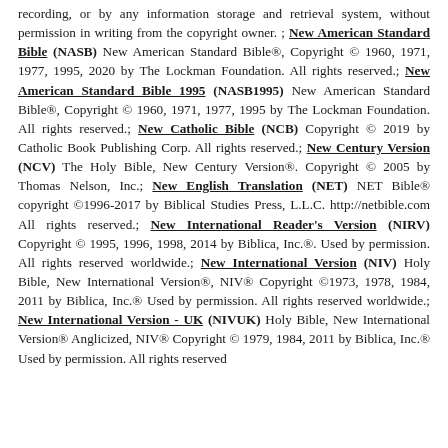recording, or by any information storage and retrieval system, without permission in writing from the copyright owner. ; New American Standard Bible (NASB) New American Standard Bible®, Copyright © 1960, 1971, 1977, 1995, 2020 by The Lockman Foundation. All rights reserved.; New American Standard Bible 1995 (NASB1995) New American Standard Bible®, Copyright © 1960, 1971, 1977, 1995 by The Lockman Foundation. All rights reserved.; New Catholic Bible (NCB) Copyright © 2019 by Catholic Book Publishing Corp. All rights reserved.; New Century Version (NCV) The Holy Bible, New Century Version®. Copyright © 2005 by Thomas Nelson, Inc.; New English Translation (NET) NET Bible® copyright ©1996-2017 by Biblical Studies Press, L.L.C. http://netbible.com All rights reserved.; New International Reader's Version (NIRV) Copyright © 1995, 1996, 1998, 2014 by Biblica, Inc.®. Used by permission. All rights reserved worldwide.; New International Version (NIV) Holy Bible, New International Version®, NIV® Copyright ©1973, 1978, 1984, 2011 by Biblica, Inc.® Used by permission. All rights reserved worldwide.; New International Version - UK (NIVUK) Holy Bible, New International Version® Anglicized, NIV® Copyright © 1979, 1984, 2011 by Biblica, Inc.® Used by permission. All rights reserved worldwide.